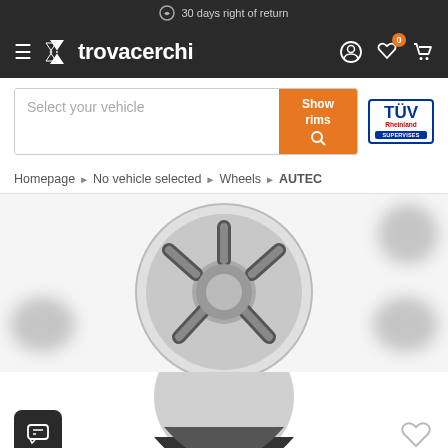30 days right of return
[Figure (screenshot): trovacerchi navigation bar with hamburger menu, logo, user icon, wishlist with badge 0, and cart icon]
Select your vehicle  Show rims
[Figure (logo): TUV Rheinland SUPERVISES badge]
Homepage › No vehicle selected › Wheels › AUTEC
[Figure (photo): AUTEC wheel/rim product image with blurred thumbnail overlays on the corners]
[Figure (photo): Bottom portion of wheel/rim product image with chat button and heart/wishlist icon]